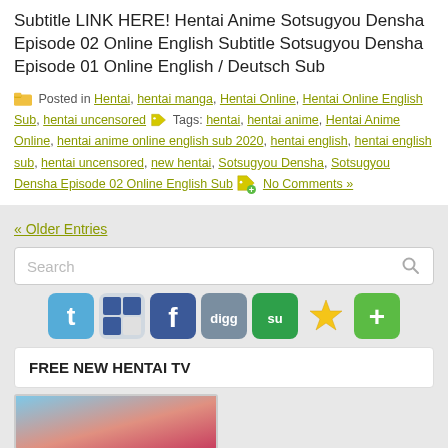Subtitle LINK HERE! Hentai Anime Sotsugyou Densha Episode 02 Online English Subtitle Sotsugyou Densha Episode 01 Online English / Deutsch Sub
Posted in Hentai, hentai manga, Hentai Online, Hentai Online English Sub, hentai uncensored Tags: hentai, hentai anime, Hentai Anime Online, hentai anime online english sub 2020, hentai english, hentai english sub, hentai uncensored, new hentai, Sotsugyou Densha, Sotsugyou Densha Episode 02 Online English Sub No Comments »
« Older Entries
Search
[Figure (infographic): Row of social media icons: Twitter (blue bird), Delicious (blue squares), Facebook (blue f), Digg (grey), StumbleUpon (green su), Star (yellow), Plus/Add (green)]
FREE NEW HENTAI TV
[Figure (photo): Partial anime thumbnail image at bottom of page]